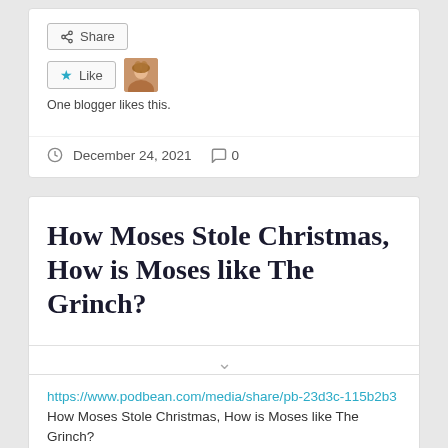[Figure (screenshot): Share button with share icon]
[Figure (screenshot): Like button with star icon and user avatar photo]
One blogger likes this.
December 24, 2021   0
How Moses Stole Christmas, How is Moses like The Grinch?
https://www.podbean.com/media/share/pb-23d3c-115b2b3 How Moses Stole Christmas, How is Moses like The Grinch?